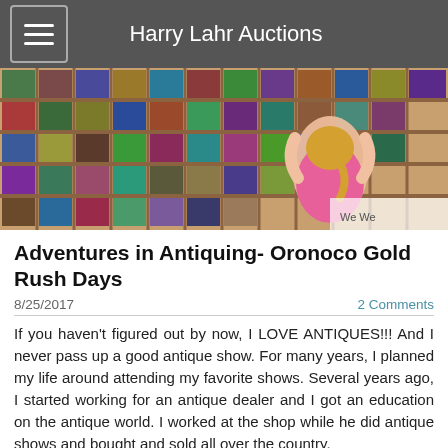Harry Lahr Auctions
[Figure (photo): A child with blonde hair in a pink top stands with back to camera, looking at a large wooden display shelf filled with colorful collectible cards or books arranged in a grid pattern.]
Adventures in Antiquing- Oronoco Gold Rush Days
8/25/2017
2 Comments
If you haven't figured out by now, I LOVE ANTIQUES!!! And I never pass up a good antique show. For many years, I planned my life around attending my favorite shows. Several years ago, I started working for an antique dealer and I got an education on the antique world. I worked at the shop while he did antique shows and bought and sold all over the country.